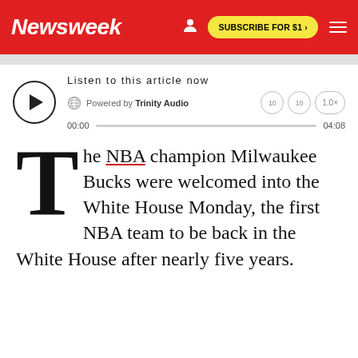Newsweek — SUBSCRIBE FOR $1 >
[Figure (screenshot): Audio player widget: play button, 'Listen to this article now', Powered by Trinity Audio, progress bar 00:00 to 04:08, playback speed 1.0x]
The NBA champion Milwaukee Bucks were welcomed into the White House Monday, the first NBA team to be back in the White House after nearly five years.